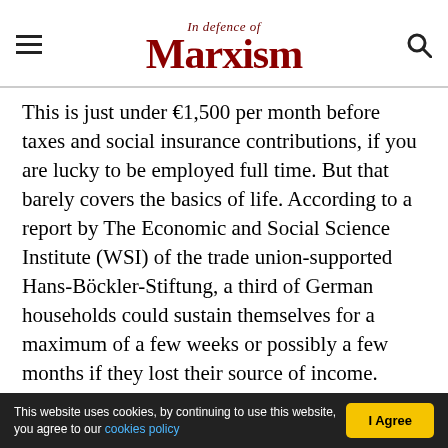In Defence of Marxism
This is just under €1,500 per month before taxes and social insurance contributions, if you are lucky to be employed full time. But that barely covers the basics of life. According to a report by The Economic and Social Science Institute (WSI) of the trade union-supported Hans-Böckler-Stiftung, a third of German households could sustain themselves for a maximum of a few weeks or possibly a few months if they lost their source of income.
An important part of the working class is essentially living from paycheck to paycheck, while the rich
This website uses cookies, by continuing to use this website, you agree to our cookies policy